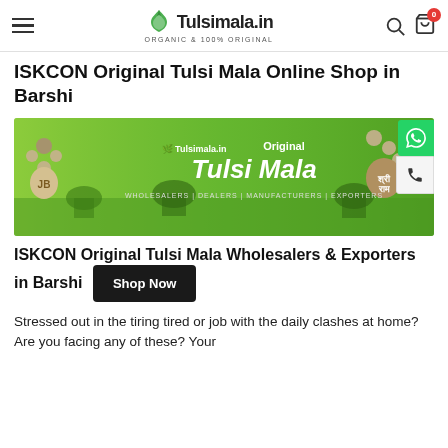Tulsimala.in ORGANIC & 100% ORIGINAL
ISKCON Original Tulsi Mala Online Shop in Barshi
[Figure (photo): Tulsimala.in banner showing Original Tulsi Mala with beads, pendants on green background. Text: Tulsimala.in Original Tulsi Mala WHOLESALERS | DEALERS | MANUFACTURERS | EXPORTERS]
ISKCON Original Tulsi Mala Wholesalers & Exporters in Barshi
Stressed out in the tiring tired or job with the daily clashes at home? Are you facing any of these? Your